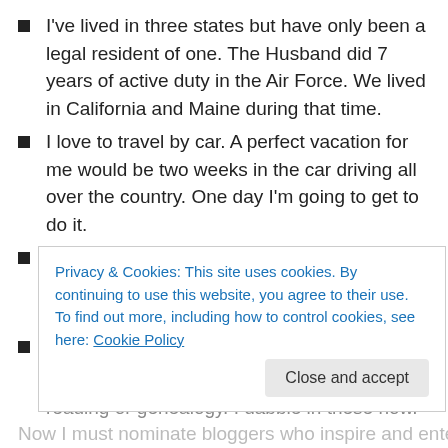I've lived in three states but have only been a legal resident of one. The Husband did 7 years of active duty in the Air Force. We lived in California and Maine during that time.
I love to travel by car. A perfect vacation for me would be two weeks in the car driving all over the country. One day I'm going to get to do it.
I love bread. Every kind of bread (except cheese-I hate most cheese.). I like to make bread too.
If I didn't knit, and was still sane, my hobby would be reading or genealogy. I dabble in these now.
Privacy & Cookies: This site uses cookies. By continuing to use this website, you agree to their use. To find out more, including how to control cookies, see here: Cookie Policy
Now I must nominate bloggers who inspire and entertain